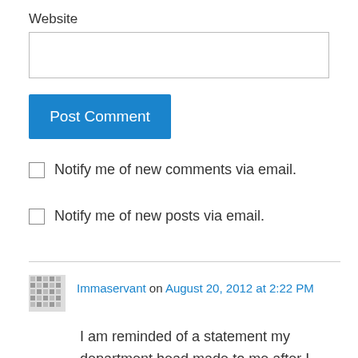Website
Post Comment
Notify me of new comments via email.
Notify me of new posts via email.
Immaservant on August 20, 2012 at 2:22 PM
I am reminded of a statement my department head made to me after I had struggled several weeks over a decision of what job I would pursue after graduate school (God blessed me